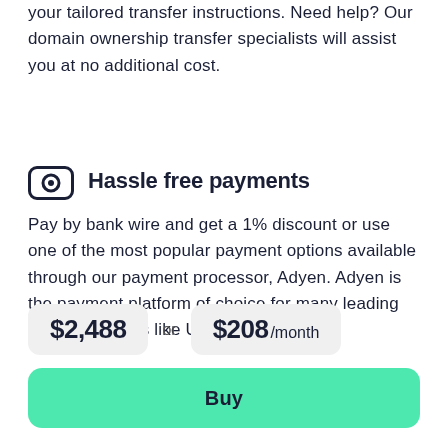your tailored transfer instructions. Need help? Our domain ownership transfer specialists will assist you at no additional cost.
Hassle free payments
Pay by bank wire and get a 1% discount or use one of the most popular payment options available through our payment processor, Adyen. Adyen is the payment platform of choice for many leading tech companies like Uber & eBay.
$2,488 or $208 /month
Buy